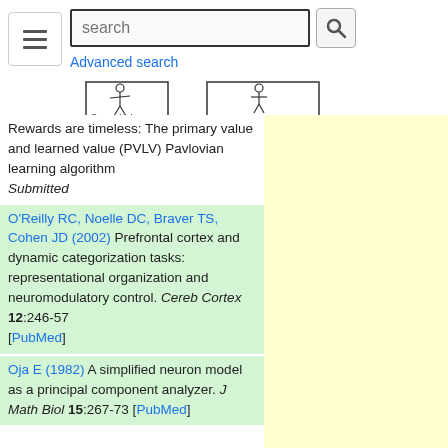[Figure (screenshot): Website search bar with hamburger menu icon, search input box, search button, Advanced search link, SenseLab logo, and MicrocircuitDB logo]
Rewards are timeless: The primary value and learned value (PVLV) Pavlovian learning algorithm Submitted
O'Reilly RC, Noelle DC, Braver TS, Cohen JD (2002) Prefrontal cortex and dynamic categorization tasks: representational organization and neuromodulatory control. Cereb Cortex 12:246-57 [PubMed]
Oja E (1982) A simplified neuron model as a principal component analyzer. J Math Biol 15:267-73 [PubMed]